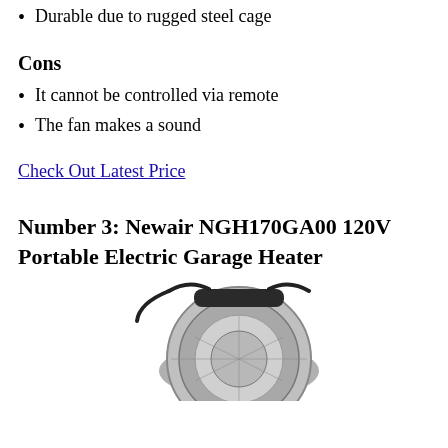Durable due to rugged steel cage
Cons
It cannot be controlled via remote
The fan makes a sound
Check Out Latest Price
Number 3: Newair NGH170GA00 120V Portable Electric Garage Heater
[Figure (photo): Photo of the Newair NGH170GA00 120V Portable Electric Garage Heater, a cylindrical silver and black fan heater with a handle and cord on top.]